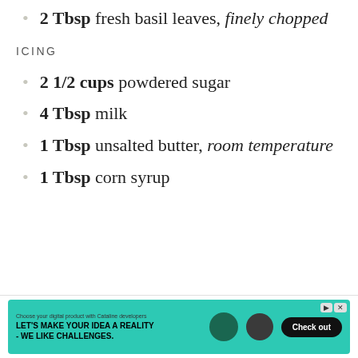2 Tbsp fresh basil leaves, finely chopped
ICING
2 1/2 cups powdered sugar
4 Tbsp milk
1 Tbsp unsalted butter, room temperature
1 Tbsp corn syrup
[Figure (other): Advertisement banner at the bottom: teal/green background with text 'LET'S MAKE YOUR IDEA A REALITY - WE LIKE CHALLENGES.' and a 'Check out' button]